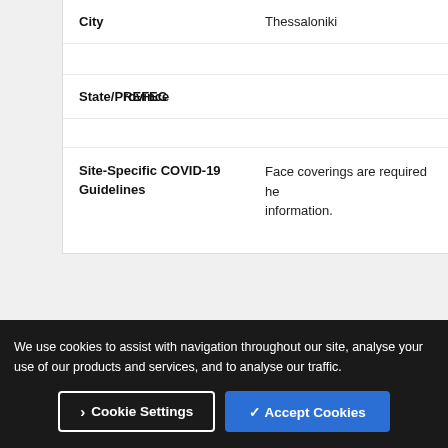| City | Thessaloniki |
| State/Province | PREFECTURE |
| Site-Specific COVID-19 Guidelines | Face coverings are required here for more information. |
| Site ID | 4367 |
We use cookies to assist with navigation throughout our site, analyse your use of our products and services, and to analyse our traffic.
Cookie Settings | ✓ Accept Cookies